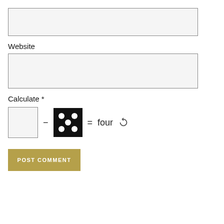[Figure (other): Empty text input field (light gray background, gray border)]
Website
[Figure (other): Empty website input field (light gray background, gray border)]
Calculate *
[Figure (other): CAPTCHA widget: empty input box, minus sign, black dice showing five dots, equals sign, the word 'four', and a refresh icon]
[Figure (other): POST COMMENT button (gold/tan background, white uppercase text)]